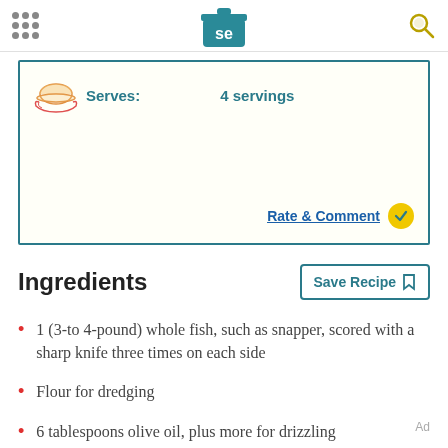[Figure (logo): Serious Eats logo: teal cooking pot with 'se' letters, navigation dots on left, search icon on right]
Serves: 4 servings
Rate & Comment
Ingredients
Save Recipe
1 (3-to 4-pound) whole fish, such as snapper, scored with a sharp knife three times on each side
Flour for dredging
6 tablespoons olive oil, plus more for drizzling